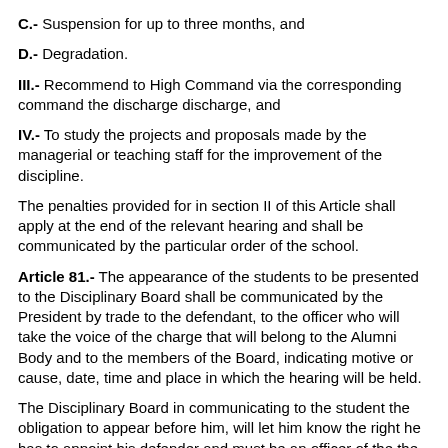C.- Suspension for up to three months, and
D.- Degradation.
III.- Recommend to High Command via the corresponding command the discharge discharge, and
IV.- To study the projects and proposals made by the managerial or teaching staff for the improvement of the discipline.
The penalties provided for in section II of this Article shall apply at the end of the relevant hearing and shall be communicated by the particular order of the school.
Article 81.- The appearance of the students to be presented to the Disciplinary Board shall be communicated by the President by trade to the defendant, to the officer who will take the voice of the charge that will belong to the Alumni Body and to the members of the Board, indicating motive or cause, date, time and place in which the hearing will be held.
The Disciplinary Board in communicating to the student the obligation to appear before him, will let him know the right he has to appoint his defender and must be an officer of the the Alumni Corps, but in no case will it be of greater degree than any of the members of the Council, in addition it will indicate that if not to do so, it will be designated one by the Board.